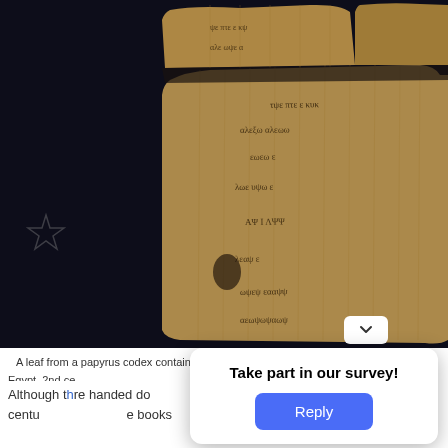[Figure (photo): A leaf from a papyrus codex containing the Gospel of John, displayed against a dark background. The papyrus fragment shows ancient handwritten text in multiple pieces/fragments. Papyrus 66, from Oxyrhynchus, Egypt, 2nd century.]
A leaf from a papyrus codex containing the Gospel of John; Papyrus [66], Oxyrhynchus, Egypt, 2nd ce[ntury]
Although t[he texts of the New Testament a]re handed do[wn in manuscripts, many of] the early 2nd centu[ry copies have survived. Th]e books